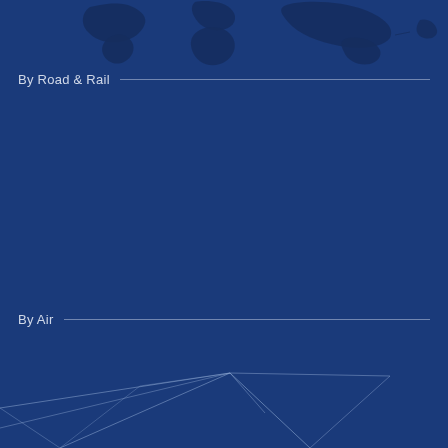[Figure (illustration): Dark silhouette of world map continents at the top of the page on a dark blue background]
By Road & Rail
[Figure (illustration): Abstract geometric line drawing resembling an airplane or angular shapes, drawn in lighter blue lines on dark blue background, positioned in the lower portion of the page]
By Air